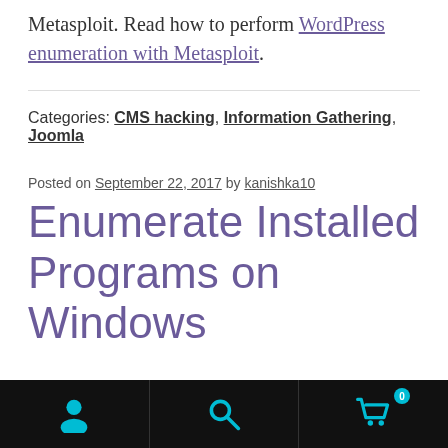Metasploit. Read how to perform WordPress enumeration with Metasploit.
Categories: CMS hacking, Information Gathering, Joomla
Posted on September 22, 2017 by kanishka10
Enumerate Installed Programs on Windows
Navigation bar with user, search, and cart icons